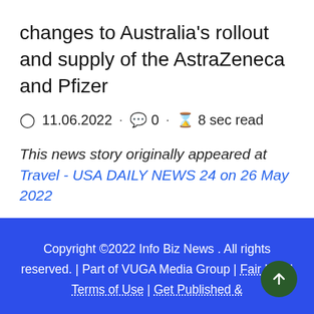changes to Australia's rollout and supply of the AstraZeneca and Pfizer
11.06.2022 · 0 · 8 sec read
This news story originally appeared at Travel - USA DAILY NEWS 24 on 26 May 2022
Copyright ©2022 Info Biz News . All rights reserved. | Part of VUGA Media Group | Fair Use | Terms of Use | Get Published &